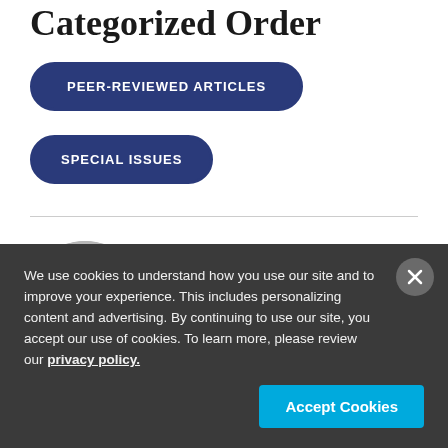Categorized Order
PEER-REVIEWED ARTICLES
SPECIAL ISSUES
[Figure (photo): Circular headshot of a man with glasses and brown hair against a light gray background]
We use cookies to understand how you use our site and to improve your experience. This includes personalizing content and advertising. By continuing to use our site, you accept our use of cookies. To learn more, please review our privacy policy.